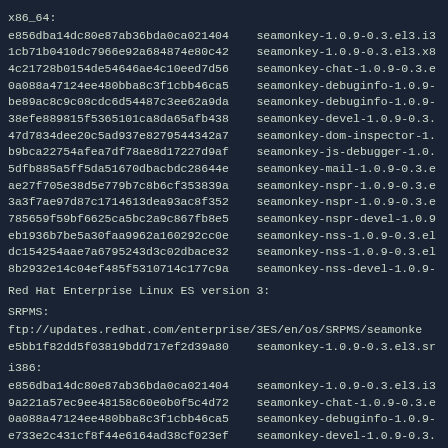x86_64:
e856dba14dc80e87ab36bda0ca021404    seamonkey-1.0.9-0.3.el3.i3
1cb71b0410dc7966e92a684874e80c42    seamonkey-1.0.9-0.3.el3.x8
4c21728b0154de54646ae4c10eed7d56    seamonkey-chat-1.0.9-0.3.e
0a088a47124ee480bba8c3f1cbb46ca5    seamonkey-debuginfo-1.0.9-
be89ac8c9c08cdc6d54487c3ee62a9da    seamonkey-debuginfo-1.0.9-
38efe889815f5365101ca8da65afb438    seamonkey-devel-1.0.9-0.3.
47d7834dee20c5ad937e8279544342a7    seamonkey-dom-inspector-1.
b9bca22754afea7df78ae8d17227d9af    seamonkey-js-debugger-1.0.
5dfb885a5ff5da51670dbacbdc28644e    seamonkey-mail-1.0.9-0.3.e
ae27f705e38d5e779b7c8b6cf353839a    seamonkey-nspr-1.0.9-0.3.e
3a3f7ae97d87c1714613dea93ac8f352    seamonkey-nspr-1.0.9-0.3.e
785659f59bf6625ca5bc2a9c867fb8e5    seamonkey-nspr-devel-1.0.9
eb1936b7be5a30faa9962a160292cc0e    seamonkey-nss-1.0.9-0.3.el
dc154254aae7a6795243d3c02dbace32    seamonkey-nss-1.0.9-0.3.el
8b2932e14c04ef485f5310714c177c9a    seamonkey-nss-devel-1.0.9-
Red Hat Enterprise Linux ES version 3:
SRPMS:
ftp://updates.redhat.com/enterprise/3ES/en/os/SRPMS/seamonke
e5bb1f82dd5f03819bdd717ef2d39a80    seamonkey-1.0.9-0.3.el3.sr
i386:
e856dba14dc80e87ab36bda0ca021404    seamonkey-1.0.9-0.3.el3.i3
9a221a57ec9ee48158c60e0b0f5c4d72    seamonkey-chat-1.0.9-0.3.e
0a088a47124ee480bba8c3f1cbb46ca5    seamonkey-debuginfo-1.0.9-
e733e2c431cf8f44e6164ad38cf023ef    seamonkey-devel-1.0.9-0.3.
be28bf5db94129511ddf39610249e921    seamonkey-dom-inspector-1.
0d7a9436ee8a0774aada00759c12add1    seamonkey-js-debugger-1.0.
16128bf8ba6de01663b67ca5ea049b58    seamonkey-mail-1.0.9-0.3.e
ae27f705e38d5e779b7c8b6cf353839a    seamonkey-nspr-1.0.9-0.3.